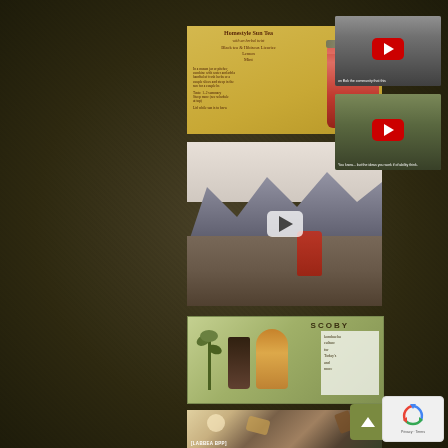[Figure (screenshot): Website/blog page screenshot showing a collection of tea and kombucha related content panels on a dark earthy brown background]
[Figure (photo): Recipe card with yellow/golden background showing Homestyle Sun Tea recipe with herbal ingredients listed: Black tea, Hibiscus, Lemon, Mint, with a red jar photo on the right]
[Figure (photo): Video thumbnail showing a mountainous landscape with a person wearing red, with a play button overlay]
[Figure (screenshot): YouTube video thumbnail (right column top) with YouTube red play button, showing tea-related content with caption text]
[Figure (screenshot): YouTube video thumbnail (right column bottom) with YouTube red play button, showing outdoor/nature tea content with caption text]
[Figure (photo): SCOBY branded product image with green background showing kombucha jars and text panel listing kombucha-related features]
[Figure (photo): Close-up photo of herbs, tea leaves and spices on a light background]
[Figure (photo): Partial view of green plant/herb thumbnail at bottom of left column, partially cut off]
[Figure (other): Scroll-to-top button (olive green square with upward arrow chevron)]
[Figure (other): Google reCAPTCHA badge with circular arrows logo and Privacy - Terms text]